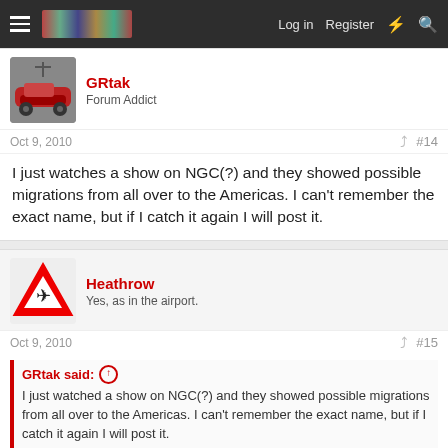Log in  Register
GRtak
Forum Addict
Oct 9, 2010  #14
I just watches a show on NGC(?) and they showed possible migrations from all over to the Americas. I can't remember the exact name, but if I catch it again I will post it.
Heathrow
Yes, as in the airport.
Oct 9, 2010  #15
GRtak said: ↑
I just watched a show on NGC(?) and they showed possible migrations from all over to the Americas. I can't remember the exact name, but if I catch it again I will post it.